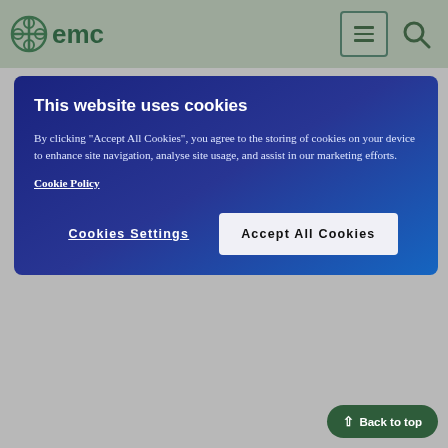emc
[Figure (screenshot): Cookie consent banner with dark blue background. Title: 'This website uses cookies'. Body text about accepting cookies. Buttons: 'Cookies Settings' and 'Accept All Cookies'.]
tract is enhanced by the presence of gastric acid. Administration of lansoprazole may result in sub-therapeutic concentrations of ketoconazole and itraconazole and the combination should be avoided.
Digoxin
Co-administration of lansoprazole and digoxin may lead to increased digoxin plasma levels. The plasma levels of digoxin should therefore be monitored and the dose of digoxin adjusted if necessary when initiating and ending lansoprazole treatment.
Medicinal products metabolised by P450 enzymes
Lansoprazole may increase plasma concentrations of medicinal products